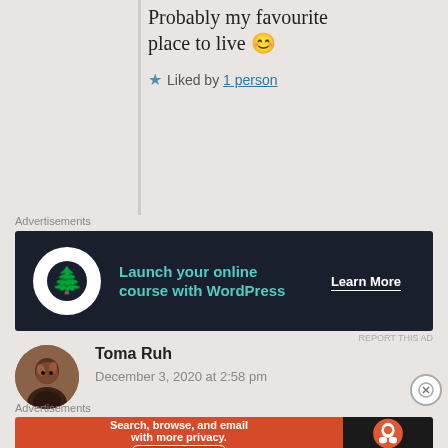Probably my favourite place to live 😊
Liked by 1 person
[Figure (screenshot): Advertisement banner: Launch your online course with WordPress - Learn More button, dark navy background with teal text and white logo circle]
[Figure (photo): Avatar photo of Toma Ruh - person with reddish hair]
Toma Ruh
December 3, 2020 at 2:58 pm
Uff I love Christmas lights! Looking at the lights on a cold winter evening as you mentioned is just magical!!
[Figure (screenshot): DuckDuckGo advertisement: Search, browse, and email with more privacy. All in One Free App - orange background with DuckDuckGo logo on dark right side]